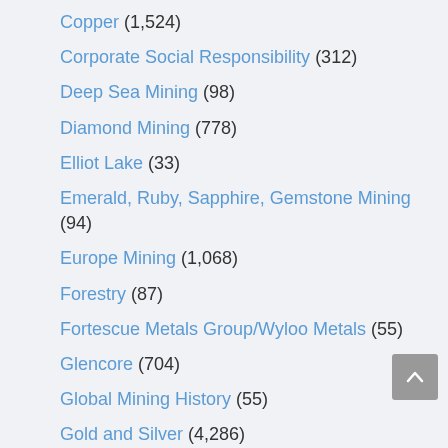Copper (1,524)
Corporate Social Responsibility (312)
Deep Sea Mining (98)
Diamond Mining (778)
Elliot Lake (33)
Emerald, Ruby, Sapphire, Gemstone Mining (94)
Europe Mining (1,068)
Forestry (87)
Fortescue Metals Group/Wyloo Metals (55)
Glencore (704)
Global Mining History (55)
Gold and Silver (4,286)